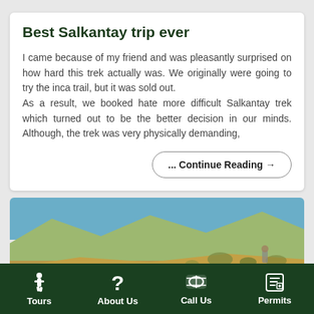Best Salkantay trip ever
I came because of my friend and was pleasantly surprised on how hard this trek actually was. We originally were going to try the inca trail, but it was sold out.
As a result, we booked hate more difficult Salkantay trek which turned out to be the better decision in our minds. Although, the trek was very physically demanding,
... Continue Reading →
[Figure (photo): Group of hikers on a dry mountain trail with hills and sparse vegetation in the background under a blue sky]
Tours   About Us   Call Us   Permits